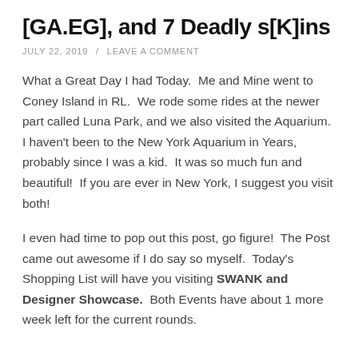[GA.EG], and 7 Deadly s[K]ins
JULY 22, 2019  /  LEAVE A COMMENT
What a Great Day I had Today.  Me and Mine went to Coney Island in RL.  We rode some rides at the newer part called Luna Park, and we also visited the Aquarium.  I haven't been to the New York Aquarium in Years, probably since I was a kid.  It was so much fun and beautiful!  If you are ever in New York, I suggest you visit both!
I even had time to pop out this post, go figure!  The Post came out awesome if I do say so myself.  Today's Shopping List will have you visiting SWANK and Designer Showcase.  Both Events have about 1 more week left for the current rounds.